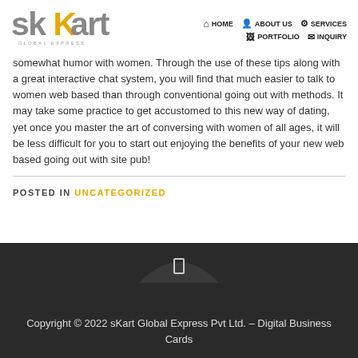[Figure (logo): sKart Global Express logo with stylized text]
HOME | ABOUT US | SERVICES | PORTFOLIO | INQUIRY
somewhat humor with women. Through the use of these tips along with a great interactive chat system, you will find that much easier to talk to women web based than through conventional going out with methods. It may take some practice to get accustomed to this new way of dating, yet once you master the art of conversing with women of all ages, it will be less difficult for you to start out enjoying the benefits of your new web based going out with site pub!
POSTED IN UNCATEGORIZED
Copyright © 2022 sKart Global Express Pvt Ltd. – Digital Business Cards